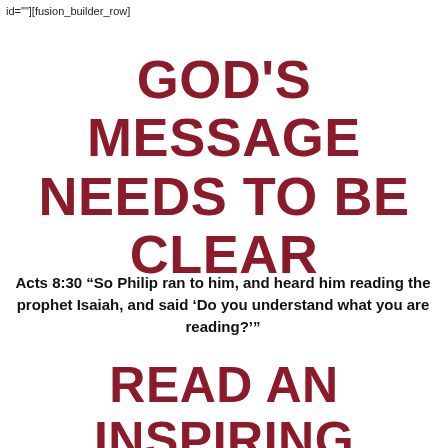id=""][fusion_builder_row]
GOD'S MESSAGE NEEDS TO BE CLEAR
Acts 8:30 “So Philip ran to him, and heard him reading the prophet Isaiah, and said ‘Do you understand what you are reading?’”
READ AN INSPIRING STORY